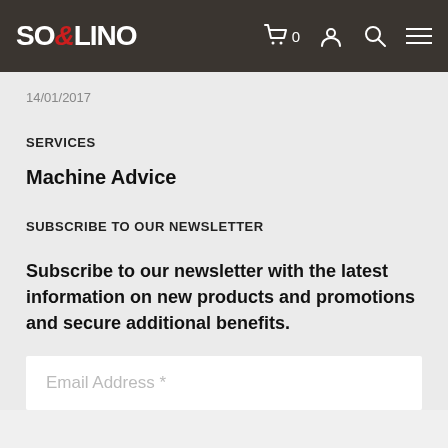SO&LINO — navigation header with cart, account, search, and menu icons
14/01/2017
SERVICES
Machine Advice
SUBSCRIBE TO OUR NEWSLETTER
Subscribe to our newsletter with the latest information on new products and promotions and secure additional benefits.
Email Address *